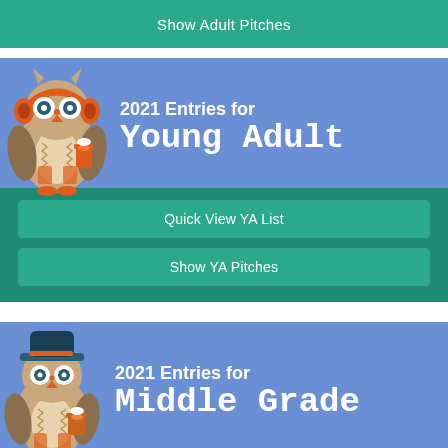Show Adult Pitches
2021 Entries for Young Adult
Quick View YA List
Show YA Pitches
2021 Entries for Middle Grade